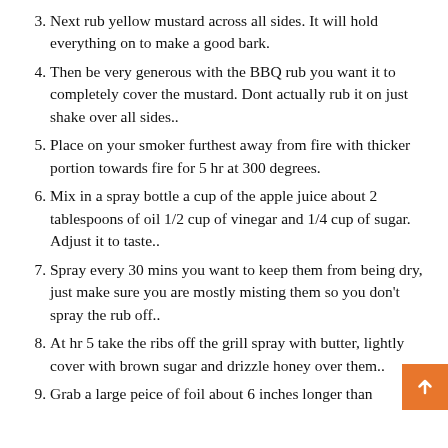3. Next rub yellow mustard across all sides. It will hold everything on to make a good bark.
4. Then be very generous with the BBQ rub you want it to completely cover the mustard. Dont actually rub it on just shake over all sides..
5. Place on your smoker furthest away from fire with thicker portion towards fire for 5 hr at 300 degrees.
6. Mix in a spray bottle a cup of the apple juice about 2 tablespoons of oil 1/2 cup of vinegar and 1/4 cup of sugar. Adjust it to taste..
7. Spray every 30 mins you want to keep them from being dry, just make sure you are mostly misting them so you don't spray the rub off..
8. At hr 5 take the ribs off the grill spray with butter, lightly cover with brown sugar and drizzle honey over them..
9. Grab a large peice of foil about 6 inches longer than